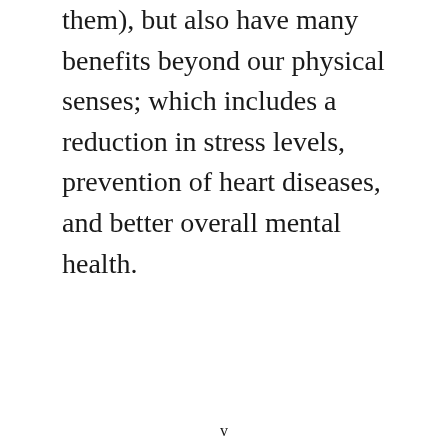them), but also have many benefits beyond our physical senses; which includes a reduction in stress levels, prevention of heart diseases, and better overall mental health.
v